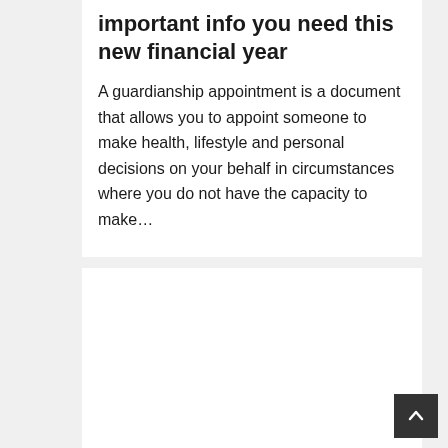important info you need this new financial year
A guardianship appointment is a document that allows you to appoint someone to make health, lifestyle and personal decisions on your behalf in circumstances where you do not have the capacity to make…